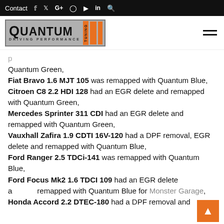Contact  f  t  G+  Instagram  YouTube  in  Search
[Figure (logo): Quantum Tuning Driving Performance logo with orange bars]
Quantum Green, Fiat Bravo 1.6 MJT 105 was remapped with Quantum Blue, Citroen C8 2.2 HDI 128 had an EGR delete and remapped with Quantum Green, Mercedes Sprinter 311 CDI had an EGR delete and remapped with Quantum Green, Vauxhall Zafira 1.9 CDTI 16V-120 had a DPF removal, EGR delete and remapped with Quantum Blue, Ford Ranger 2.5 TDCi-141 was remapped with Quantum Blue, Ford Focus Mk2 1.6 TDCI 109 had an EGR delete and remapped with Quantum Blue for Monster Garage, Honda Accord 2.2 DTEC-180 had a DPF removal and